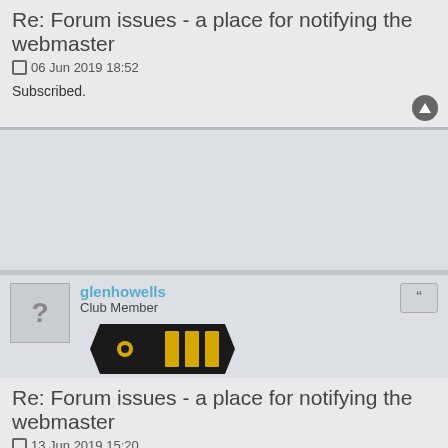Re: Forum issues - a place for notifying the webmaster
06 Jun 2019 18:52
Subscribed.
glenhowells
Club Member
[Figure (illustration): Dark tag/badge shape with yellow stripe rank insignia]
Re: Forum issues - a place for notifying the webmaster
13 Jun 2019 15:20
Hi Teresa
I don't know if there is a problem with the site. For me lost all images only have text any body else have the same issue.
Cheers Glen
TeresaFrench
Board Admin
[Figure (illustration): Gold/yellow rank badge with decorative symbols]
Re: Forum issues - a place for notifying the webmaster